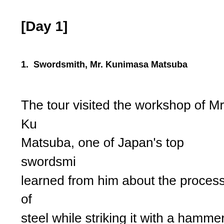[Day 1]
1.  Swordsmith, Mr. Kunimasa Matsuba
The tour visited the workshop of Mr. Kunimasa Matsuba, one of Japan's top swordsmiths, and learned from him about the process of heating steel while striking it with a hammer causes sparks to fly, and about the traditional process of making a sword. The journalists also interviewed his apprentices, who he is training to pass the craft to the next generation, and asked questions...